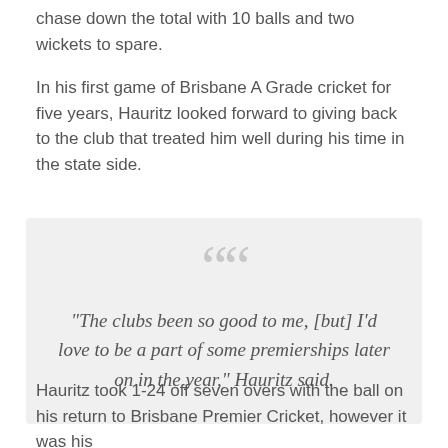chase down the total with 10 balls and two wickets to spare.
In his first game of Brisbane A Grade cricket for five years, Hauritz looked forward to giving back to the club that treated him well during his time in the state side.
“The clubs been so good to me, [but] I’d love to be a part of some premierships later on in the year,” Hauritz said.
Hauritz took 1-24 off seven overs with the ball on his return to Brisbane Premier Cricket, however it was his